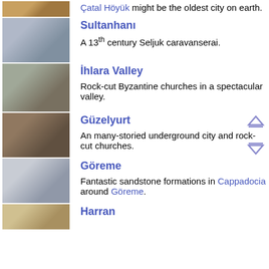[Figure (photo): Top partial thumbnail of Catal Hoyuk ancient site]
Çatal Höyük might be the oldest city on earth.
[Figure (photo): Photo of Sultanhanı Seljuk caravanserai gate]
Sultanhanı
A 13th century Seljuk caravanserai.
[Figure (photo): Photo of rock-cut caves in Ihlara Valley]
İhlara Valley
Rock-cut Byzantine churches in a spectacular valley.
[Figure (photo): Photo of underground city entrance at Güzelyurt]
Güzelyurt
An many-storied underground city and rock-cut churches.
[Figure (photo): Photo of sandstone fairy chimneys near Göreme]
Göreme
Fantastic sandstone formations in Cappadocia around Göreme.
[Figure (photo): Partial thumbnail of Harran beehive houses]
Harran